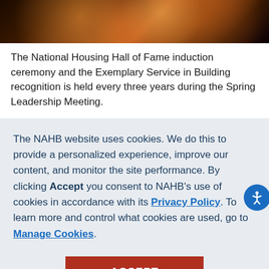[Figure (photo): Dark bokeh background image with warm orange and golden light circles on dark background]
The National Housing Hall of Fame induction ceremony and the Exemplary Service in Building recognition is held every three years during the Spring Leadership Meeting.
The NAHB website uses cookies. We do this to provide a personalized experience, improve our content, and monitor the site performance. By clicking Accept you consent to NAHB's use of cookies in accordance with its Privacy Policy. To learn more and control what cookies are used, go to Manage Cookies.
ACCEPT